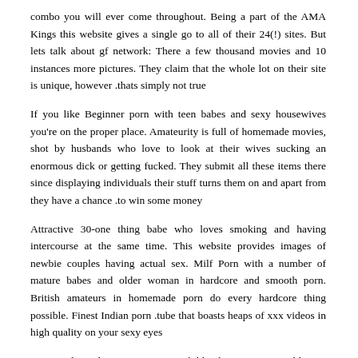combo you will ever come throughout. Being a part of the AMA Kings this website gives a single go to all of their 24(!) sites. But lets talk about gf network: There a few thousand movies and 10 instances more pictures. They claim that the whole lot on their site is unique, however thats simply not true.
If you like Beginner porn with teen babes and sexy housewives you're on the proper place. Amateurity is full of homemade movies, shot by husbands who love to look at their wives sucking an enormous dick or getting fucked. They submit all these items there since displaying individuals their stuff turns them on and apart from they have a chance to win some money.
Attractive 30-one thing babe who loves smoking and having intercourse at the same time. This website provides images of newbie couples having actual sex. Milf Porn with a number of mature babes and older woman in hardcore and smooth porn. British amateurs in homemade porn do every hardcore thing possible. Finest Indian porn tube that boasts heaps of xxx videos in high quality on your sexy eyes.
Pricey pals, Welcome to my private bible, the Intercourse Bible! On my bible you will see all the perfect porn websites i've liked. Guys,